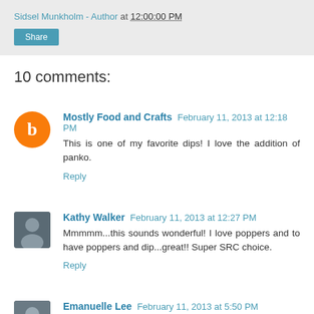Sidsel Munkholm - Author at 12:00:00 PM
Share
10 comments:
Mostly Food and Crafts February 11, 2013 at 12:18 PM
This is one of my favorite dips! I love the addition of panko.
Reply
Kathy Walker February 11, 2013 at 12:27 PM
Mmmmm...this sounds wonderful! I love poppers and to have poppers and dip...great!! Super SRC choice.
Reply
Emanuelle Lee February 11, 2013 at 5:50 PM